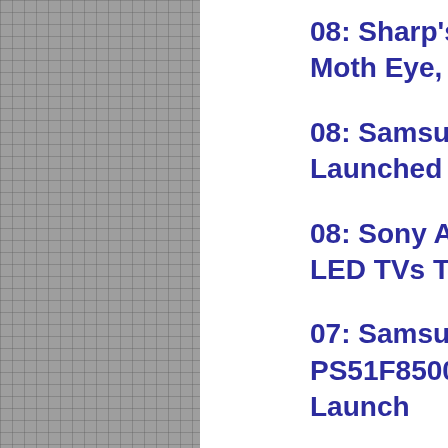08: Sharp's TV Future Lies In IGZO, Moth Eye, Quattron, Ultra HD 4K & 8K
08: Samsung S9 Ultra HD 4K TV Launched At CES In 85” & Later 110”
08: Sony Adds 55” & 65-Inch X9000A 4K LED TVs To Ultra HD Lineup
07: Samsung Espouses Plasma TV With PS51F8500 & PS64F8500 (F8500) Launch
07: Panasonic ZT60, VT60 & ST60 Plasma TVs Launched At CES 2013
07: Toshiba Adds 58” & 65” 4K TVs To 84-Inch L9300 Quad Full HD TV
07: Is Samsung’s CES 2013